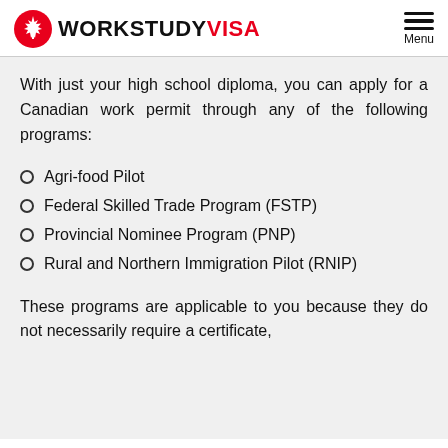WORKSTUDY VISA — Menu
With just your high school diploma, you can apply for a Canadian work permit through any of the following programs:
Agri-food Pilot
Federal Skilled Trade Program (FSTP)
Provincial Nominee Program (PNP)
Rural and Northern Immigration Pilot (RNIP)
These programs are applicable to you because they do not necessarily require a certificate,